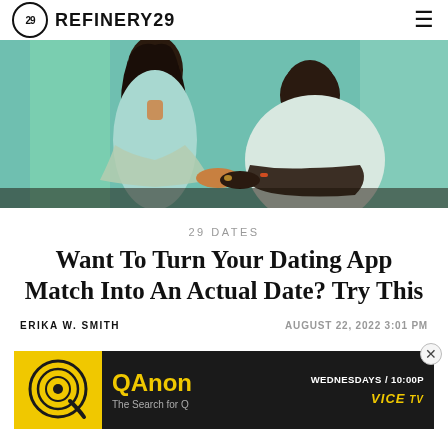REFINERY29
[Figure (photo): A couple sitting together, the woman in a light blue dress with dark curly hair, the man in a white t-shirt, their hands touching, on a teal/green background.]
29 DATES
Want To Turn Your Dating App Match Into An Actual Date? Try This
ERIKA W. SMITH
AUGUST 22, 2022 3:01 PM
[Figure (screenshot): Advertisement banner for QAnon: The Search for Q on VICE TV. Shows logo, title, and 'WEDNESDAYS / 10:00P' schedule. Dark background with yellow accent colors.]